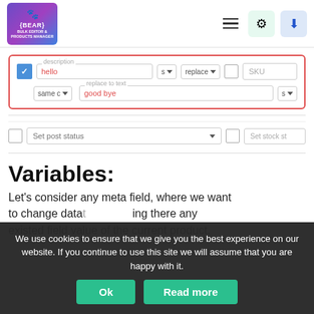[Figure (screenshot): BEAR Bulk Editor and Products Manager logo - purple/blue gradient square with paw icon]
[Figure (screenshot): UI panel showing a description field with 'hello' in pink/red, 's' dropdown, 'replace' dropdown, and a 'replace to text' sub-row with 'same c' dropdown and 'good bye' text, plus empty checkbox and SKU field. Entire panel outlined in red border.]
[Figure (screenshot): Set post status dropdown row with empty checkbox, and Set stock status partially visible]
Variables:
Let's consider any meta field, where we want to change data t ing there any existed field value of the current product.
We use cookies to ensure that we give you the best experience on our website. If you continue to use this site we will assume that you are happy with it.